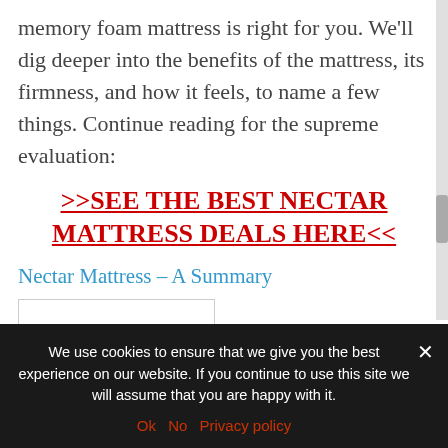memory foam mattress is right for you. We'll dig deeper into the benefits of the mattress, its firmness, and how it feels, to name a few things. Continue reading for the supreme evaluation:
>>SEE THE BEST NECTAR MATTRESS DEALS HERE<<
Nectar Mattress – A Summary
We use cookies to ensure that we give you the best experience on our website. If you continue to use this site we will assume that you are happy with it.
Ok   No   Privacy policy